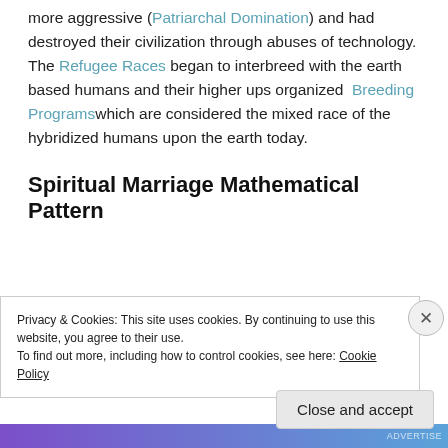more aggressive (Patriarchal Domination) and had destroyed their civilization through abuses of technology. The Refugee Races began to interbreed with the earth based humans and their higher ups organized Breeding Programs which are considered the mixed race of the hybridized humans upon the earth today.
Spiritual Marriage Mathematical Pattern
Privacy & Cookies: This site uses cookies. By continuing to use this website, you agree to their use. To find out more, including how to control cookies, see here: Cookie Policy